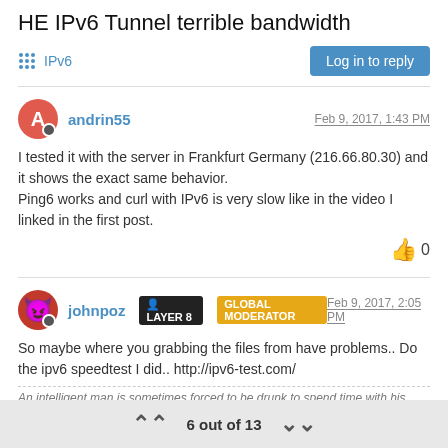HE IPv6 Tunnel terrible bandwidth
IPv6
Log in to reply
andrin55 — Feb 9, 2017, 1:43 PM
I tested it with the server in Frankfurt Germany (216.66.80.30) and it shows the exact same behavior.
Ping6 works and curl with IPv6 is very slow like in the video I linked in the first post.
👍 0
johnpoz LAYER 8 GLOBAL MODERATOR — Feb 9, 2017, 2:05 PM
So maybe where you grabbing the files from have problems.. Do the ipv6 speedtest I did.. http://ipv6-test.com/
An intelligent man is sometimes forced to be drunk to spend time with his
6 out of 13